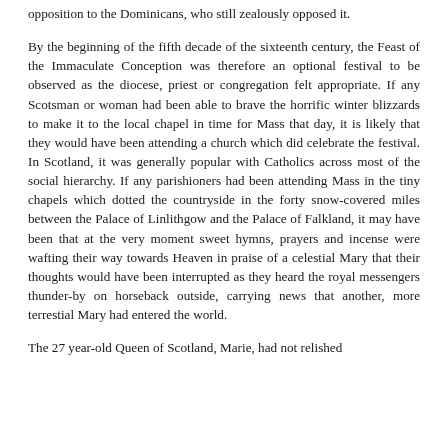opposition to the Dominicans, who still zealously opposed it.
By the beginning of the fifth decade of the sixteenth century, the Feast of the Immaculate Conception was therefore an optional festival to be observed as the diocese, priest or congregation felt appropriate. If any Scotsman or woman had been able to brave the horrific winter blizzards to make it to the local chapel in time for Mass that day, it is likely that they would have been attending a church which did celebrate the festival. In Scotland, it was generally popular with Catholics across most of the social hierarchy. If any parishioners had been attending Mass in the tiny chapels which dotted the countryside in the forty snow-covered miles between the Palace of Linlithgow and the Palace of Falkland, it may have been that at the very moment sweet hymns, prayers and incense were wafting their way towards Heaven in praise of a celestial Mary that their thoughts would have been interrupted as they heard the royal messengers thunder-by on horseback outside, carrying news that another, more terrestial Mary had entered the world.
The 27 year-old Queen of Scotland, Marie, had not relished